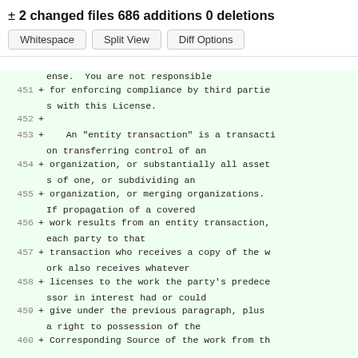± 2 changed files 686 additions 0 deletions
Whitespace  Split View  Diff Options
ense.  You are not responsible
451 + for enforcing compliance by third parties with this License.
452 +
453 +    An "entity transaction" is a transaction transferring control of an
454 + organization, or substantially all assets of one, or subdividing an
455 + organization, or merging organizations. If propagation of a covered
456 + work results from an entity transaction, each party to that
457 + transaction who receives a copy of the work also receives whatever
458 + licenses to the work the party's predecessor in interest had or could
459 + give under the previous paragraph, plus a right to possession of the
460 + Corresponding Source of the work from th